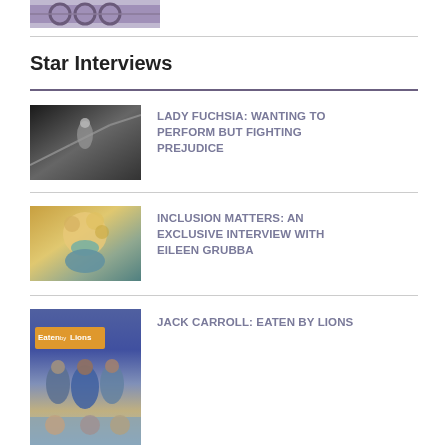[Figure (photo): Partial top image showing bicycles or similar objects, cropped at top of page]
Star Interviews
[Figure (photo): Black and white photo of a person on stairs]
LADY FUCHSIA: WANTING TO PERFORM BUT FIGHTING PREJUDICE
[Figure (photo): Photo of a smiling woman with curly blonde hair]
INCLUSION MATTERS: AN EXCLUSIVE INTERVIEW WITH EILEEN GRUBBA
[Figure (photo): Movie poster for Eaten by Lions]
JACK CARROLL: EATEN BY LIONS